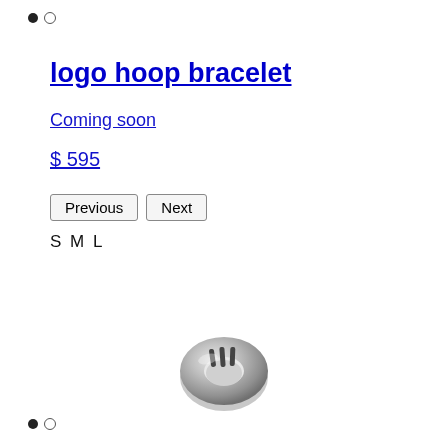● ○
logo hoop bracelet
Coming soon
$ 595
Previous  Next
S M L
[Figure (photo): Silver logo hoop ring/bracelet product photo on white background]
● ○